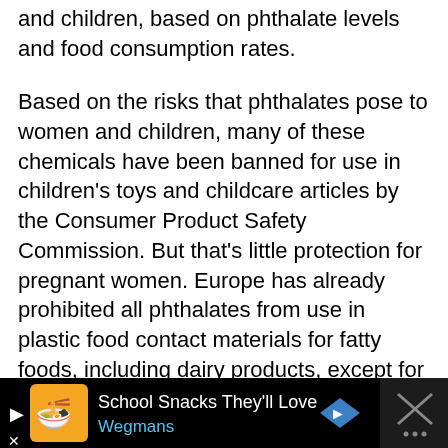and children, based on phthalate levels and food consumption rates.
Based on the risks that phthalates pose to women and children, many of these chemicals have been banned for use in children's toys and childcare articles by the Consumer Product Safety Commission. But that's little protection for pregnant women. Europe has already prohibited all phthalates from use in plastic food contact materials for fatty foods, including dairy products, except for three phthalates whose use has been highly restricted. In contrast, the U.S. Food and Drug Administration has failed to take action in response to growing concern and scientific
[Figure (other): Advertisement banner at the bottom of the page. Black background with Wegmans ad: orange/yellow logo icon on left, 'School Snacks They'll Love' in white text, 'Wegmans' in blue text, a blue diamond-shaped navigation arrow icon, and a dark close panel on the right with an X icon.]